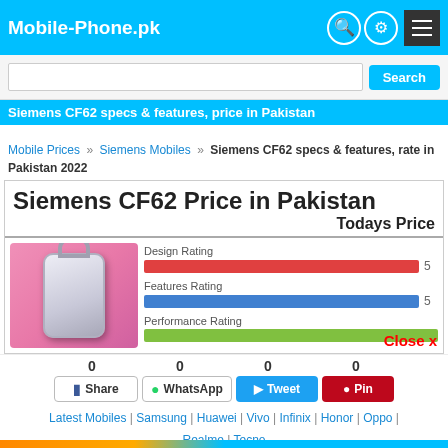Mobile-Phone.pk
Search
Siemens CF62 specs & features, price in Pakistan
Mobile Prices » Siemens Mobiles » Siemens CF62 specs & features, rate in Pakistan 2022
Siemens CF62 Price in Pakistan
Todays Price
[Figure (photo): Siemens CF62 phone image on pink background with Design Rating 5, Features Rating 5, Performance Rating bar shown]
Close x
0  0  0  0
Share  WhatsApp  Tweet  Pin
Latest Mobiles | Samsung | Huawei | Vivo | Infinix | Honor | Oppo | Realme | Tecno